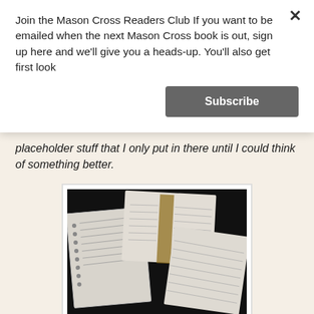Join the Mason Cross Readers Club If you want to be emailed when the next Mason Cross book is out, sign up here and we'll give you a heads-up. You'll also get first look
Subscribe
placeholder stuff that I only put in there until I could think of something better.
[Figure (photo): Photo of multiple open notebooks and handwritten manuscripts spread on a dark surface]
What is the first thing do before you start to revise?